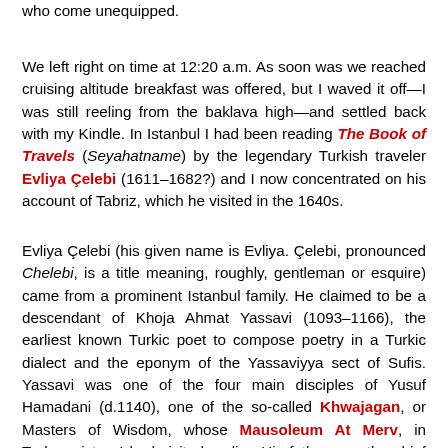who come unequipped.
We left right on time at 12:20 a.m. As soon was we reached cruising altitude breakfast was offered, but I waved it off—I was still reeling from the baklava high—and settled back with my Kindle. In Istanbul I had been reading The Book of Travels (Seyahatname) by the legendary Turkish traveler Evliya Çelebi (1611–1682?) and I now concentrated on his account of Tabriz, which he visited in the 1640s.
Evliya Çelebi (his given name is Evliya. Çelebi, pronounced Chelebi, is a title meaning, roughly, gentleman or esquire) came from a prominent Istanbul family. He claimed to be a descendant of Khoja Ahmat Yassavi (1093–1166), the earliest known Turkic poet to compose poetry in a Turkic dialect and the eponym of the Yassaviyya sect of Sufis. Yassavi was one of the four main disciples of Yusuf Hamadani (d.1140), one of the so-called Khwajagan, or Masters of Wisdom, whose Mausoleum At Merv, in Turkmenistan I had visited earlier. His father was the chief goldsmith of several of the Ottoman sultans. He himself was tutored by the imam of Sultan Murad IV. A precocious